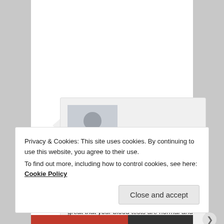[Figure (illustration): User avatar silhouette (grey placeholder person icon)]
Vickie Ferns on September 17, 2015 at 10:53 PM
said:
I will share your story on the PSC site, so great that your blood tests are normal and you feel so well.
Privacy & Cookies: This site uses cookies. By continuing to use this website, you agree to their use.
To find out more, including how to control cookies, see here: Cookie Policy
Close and accept